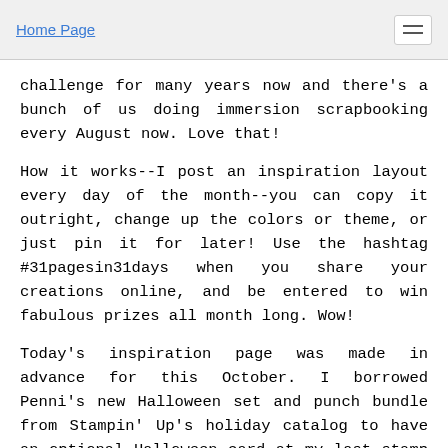Home Page
challenge for many years now and there's a bunch of us doing immersion scrapbooking every August now. Love that!
How it works--I post an inspiration layout every day of the month--you can copy it outright, change up the colors or theme, or just pin it for later! Use the hashtag #31pagesin31days when you share your creations online, and be entered to win fabulous prizes all month long. Wow!
Today's inspiration page was made in advance for this October. I borrowed Penni's new Halloween set and punch bundle from Stampin' Up's holiday catalog to have an optional Halloween card at my last stamp club. While it was in my hot little hands I